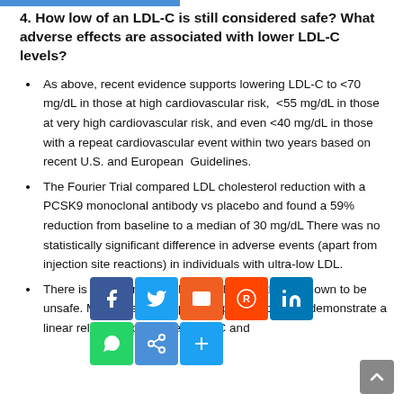4. How low of an LDL-C is still considered safe? What adverse effects are associated with lower LDL-C levels?
As above, recent evidence supports lowering LDL-C to <70 mg/dL in those at high cardiovascular risk,  <55 mg/dL in those at very high cardiovascular risk, and even <40 mg/dL in those with a repeat cardiovascular event within two years based on recent U.S. and European  Guidelines.
The Fourier Trial compared LDL cholesterol reduction with a PCSK9 monoclonal antibody vs placebo and found a 59% reduction from baseline to a median of 30 mg/dL There was no statistically significant difference in adverse events (apart from injection site reactions) in individuals with ultra-low LDL.
There is no lower limit of LDL cholesterol that is known to be unsafe. Meta-analysis of primary prevention data demonstrate a linear relationship between LDL-C and